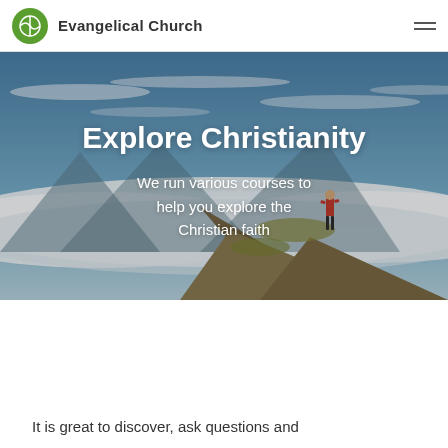Evangelical Church
[Figure (photo): Person standing on a mountain peak above clouds with blue sky background, serving as hero image for an Explore Christianity webpage]
Explore Christianity
We run various courses to help you explore the Christian faith
It is great to discover, ask questions and